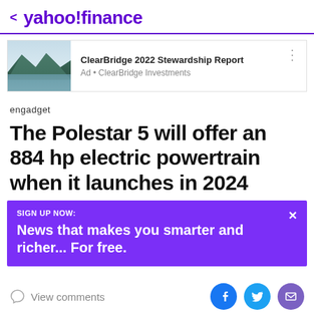< yahoo!finance
[Figure (screenshot): Ad banner for ClearBridge 2022 Stewardship Report with mountain lake image]
ClearBridge 2022 Stewardship Report
Ad • ClearBridge Investments
engadget
The Polestar 5 will offer an 884 hp electric powertrain when it launches in 2024
SIGN UP NOW:
News that makes you smarter and richer... For free.
View comments